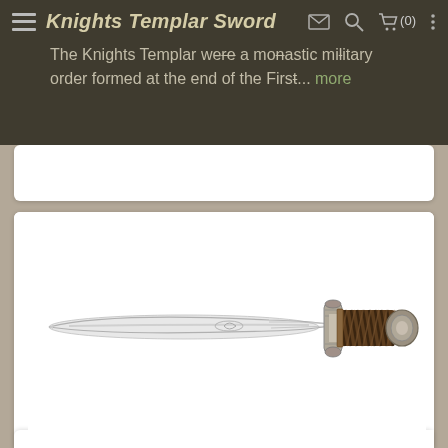Knights Templar Sword — The Knights Templar were a monastic military order formed at the end of the Firs... more
[Figure (photo): Sting Sword of Frodo — a short elvish sword/dagger with a slender double-edged silver blade, ornate crossguard, and dark wrapped handle with pommel]
Sting Sword of Frodo
A magical sword given to Frodo Baggins by his uncle Bilbo, the original Ringbear... more